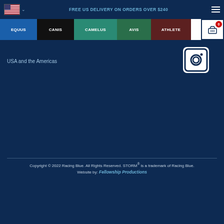FREE US DELIVERY ON ORDERS OVER $240
EQUUS | CANIS | CAMELUS | AVIS | ATHLETE
USA and the Americas
[Figure (logo): Instagram icon in white on dark blue background]
Copyright © 2022 Racing Blue. All Rights Reserved. STORM® is a trademark of Racing Blue. Website by: Fellowship Productions